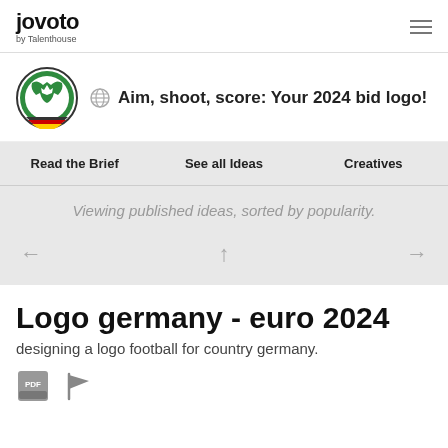jovoto by Talenthouse
Aim, shoot, score: Your 2024 bid logo!
Read the Brief  See all Ideas  Creatives
Viewing published ideas, sorted by popularity.
Logo germany - euro 2024
designing a logo football for country germany.